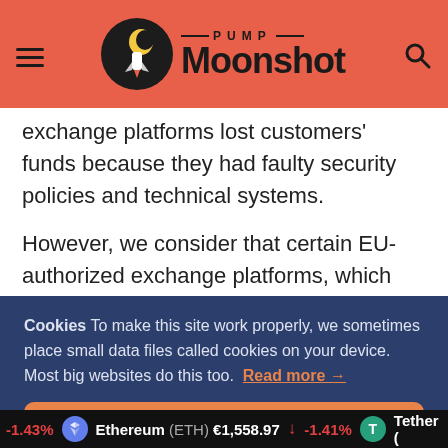PUMP Moonshot
exchange platforms lost customers' funds because they had faulty security policies and technical systems.
However, we consider that certain EU-authorized exchange platforms, which are a simple one implementation through
Cookies To make this site work properly, we sometimes place small data files called cookies on your device. Most big websites do this too. Read more →
✓ Accept
Cookies Settings ⚙
-1.43% Ethereum (ETH) €1,558.97 ↓ -1.41% Tether (